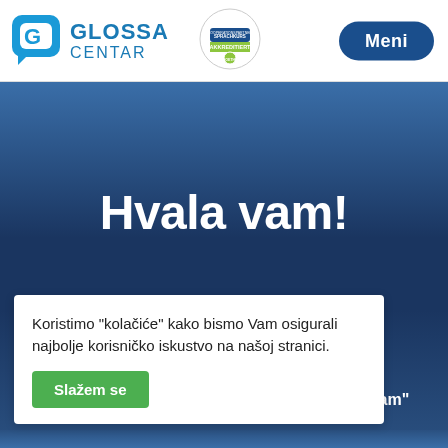[Figure (logo): Glossa Centar logo with chat bubble G icon and text GLOSSA CENTAR]
[Figure (logo): Sprachkurs Kooperationspartner Akkreditiert badge with circular logo]
Meni
Hvala vam!
Koristimo "kolačiće" kako bismo Vam osigurali najbolje korisničko iskustvo na našoj stranici.
Slažem se
slali smo sali na erite "spam"